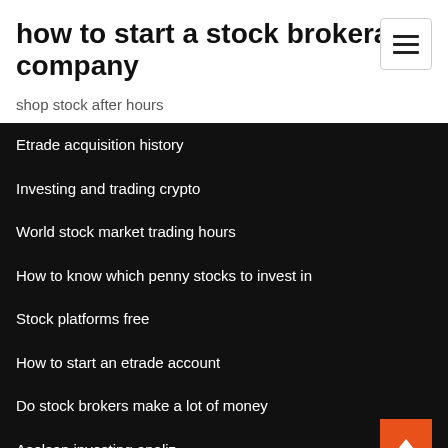how to start a stock brokerage company
shop stock after hours
Etrade acquisition history
Investing and trading crypto
World stock market trading hours
How to know which penny stocks to invest in
Stock platforms free
How to start an etrade account
Do stock brokers make a lot of money
Aselsan investing analiz
Hot stock trade today